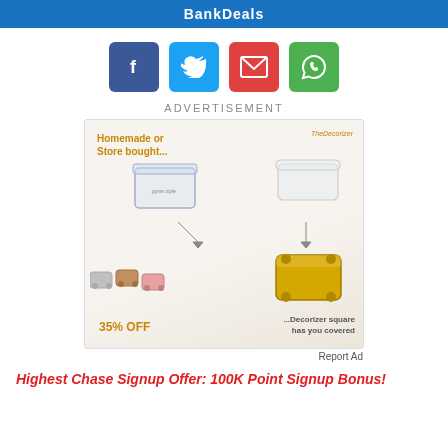BankDeals
[Figure (infographic): Social share buttons: Facebook (blue), Twitter (cyan), Email (red), WhatsApp (green)]
ADVERTISEMENT
[Figure (photo): Advertisement for TheDecorizer showing glass and plastic food containers converting to decorative gold square serving bowls. Text: Homemade or Store bought... 35% OFF ...Decorizer square has you covered]
Report Ad
Highest Chase Signup Offer: 100K Point Signup Bonus!